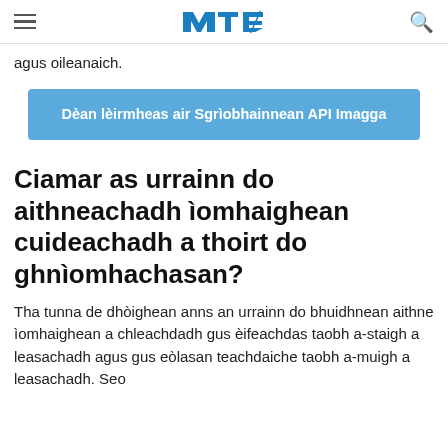MTE (logo)
agus oileanaich.
Dèan lèirmheas air Sgrìobhainnean API Imagga
Ciamar as urrainn do aithneachadh ìomhaighean cuideachadh a thoirt do ghnìomhachasan?
Tha tunna de dhòighean anns an urrainn do bhuidhnean aithne ìomhaighean a chleachdadh gus èifeachdas taobh a-staigh a leasachadh agus gus eòlasan teachdaiche taobh a-muigh a leasachadh. Seo